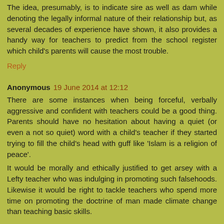The idea, presumably, is to indicate sire as well as dam while denoting the legally informal nature of their relationship but, as several decades of experience have shown, it also provides a handy way for teachers to predict from the school register which child's parents will cause the most trouble.
Reply
Anonymous 19 June 2014 at 12:12
There are some instances when being forceful, verbally aggressive and confident with teachers could be a good thing. Parents should have no hesitation about having a quiet (or even a not so quiet) word with a child's teacher if they started trying to fill the child's head with guff like 'Islam is a religion of peace'.
It would be morally and ethically justified to get arsey with a Lefty teacher who was indulging in promoting such falsehoods. Likewise it would be right to tackle teachers who spend more time on promoting the doctrine of man made climate change than teaching basic skills.